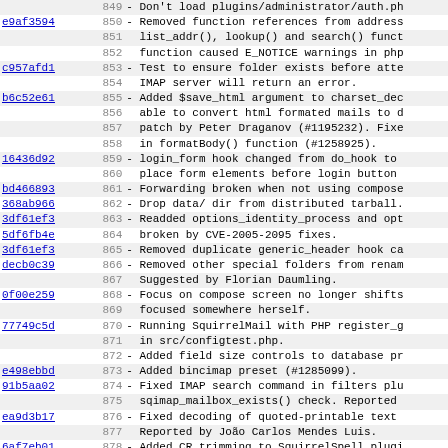| hash | line | message |
| --- | --- | --- |
|  | 849 | - Don't load plugins/administrator/auth.ph |
| e9af3594 | 850 | - Removed function references from address |
|  | 851 |   list_addr(), lookup() and search() funct |
|  | 852 |   function caused E_NOTICE warnings in php |
| c957afd1 | 853 | - Test to ensure folder exists before atte |
|  | 854 |   IMAP server will return an error. |
| b6c52e61 | 855 | - Added $save_html argument to charset_dec |
|  | 856 |   able to convert html formated mails to d |
|  | 857 |   patch by Peter Draganov (#1195232). Fixe |
|  | 858 |   in formatBody() function (#1258925). |
| 16436d92 | 859 | - login_form hook changed from do_hook to |
|  | 860 |   place form elements before login button |
| bd466893 | 861 | - Forwarding broken when not using compose |
| 368ab966 | 862 | - Drop data/ dir from distributed tarball. |
| 3df61ef3 | 863 | - Readded options_identity_process and opt |
| 5df6fb4e | 864 |   broken by CVE-2005-2095 fixes. |
| 3df61ef3 | 865 | - Removed duplicate generic_header hook ca |
| decb0c39 | 866 | - Removed other special folders from renam |
|  | 867 |   Suggested by Florian Daumling. |
| 0f00e259 | 868 | - Focus on compose screen no longer shifts |
|  | 869 |   focused somewhere herself. |
| 77749c5d | 870 | - Running SquirrelMail with PHP register_g |
|  | 871 |   in src/configtest.php. |
|  | 872 | - Added field size controls to database pr |
| e498ebbd | 873 | - Added bincimap preset (#1285099). |
| 91b5aa02 | 874 | - Fixed IMAP search command in filters plu |
|  | 875 |   sqimap_mailbox_exists() check. Reported |
| ea9d3b17 | 876 | - Fixed decoding of quoted-printable text |
|  | 877 |   Reported by João Carlos Mendes Luis. |
| 6af7eb01 | 878 | - Added CR trimming to SquirrelSpell plugi |
|  | 879 |   Windows systems. |
| 7b0ea860 | 880 | - Sanitized names displayed in address boo |
|  | 881 |   Added autoc field controls to address |